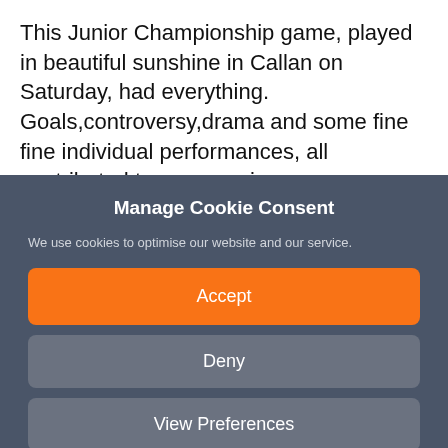This Junior Championship game, played in beautiful sunshine in Callan on Saturday, had everything. Goals,controversy,drama and some fine fine individual performances, all contributed to some serious entertainment for the large crowd assembled. In the end ,it was a final spurt in the second half of extra time, that pushed Mooncoin over the line. But pushed they were, all the
Manage Cookie Consent
We use cookies to optimise our website and our service.
Accept
Deny
View Preferences